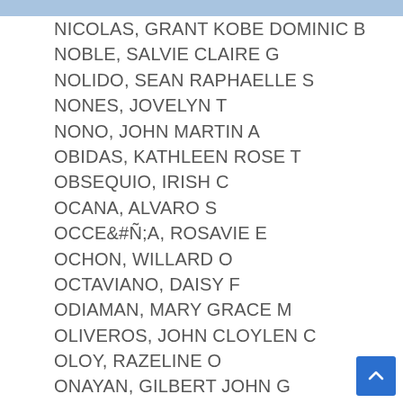NICOLAS, GRANT KOBE DOMINIC B
NOBLE, SALVIE CLAIRE G
NOLIDO, SEAN RAPHAELLE S
NONES, JOVELYN T
NONO, JOHN MARTIN A
OBIDAS, KATHLEEN ROSE T
OBSEQUIO, IRISH C
OCANA, ALVARO S
OCCEÑA, ROSAVIE E
OCHON, WILLARD O
OCTAVIANO, DAISY F
ODIAMAN, MARY GRACE M
OLIVEROS, JOHN CLOYLEN C
OLOY, RAZELINE O
ONAYAN, GILBERT JOHN G
ONAYAN, JUDY S
ONIN, MARY JANE M
OPAO, IRISH DEANNE E
OPAO, KIER BLASIUS P